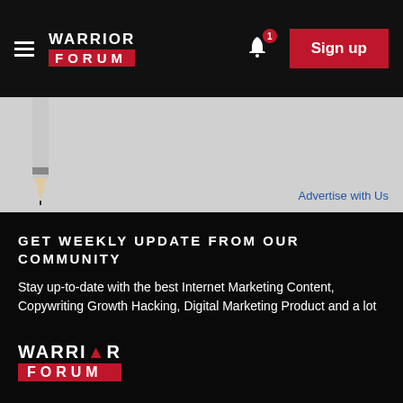Warrior Forum — Navigation bar with hamburger menu, logo, bell notification (1), and Sign up button
[Figure (screenshot): Advertisement banner area with pencil image on left and 'Advertise with Us' link on right]
Advertise with Us
GET WEEKLY UPDATE FROM OUR COMMUNITY
Stay up-to-date with the best Internet Marketing Content, Copywriting Growth Hacking, Digital Marketing Product and a lot more!
Your email address | Subscribe
[Figure (logo): Warrior Forum logo at bottom — WARRIOR text above red FORUM bar with triangle]